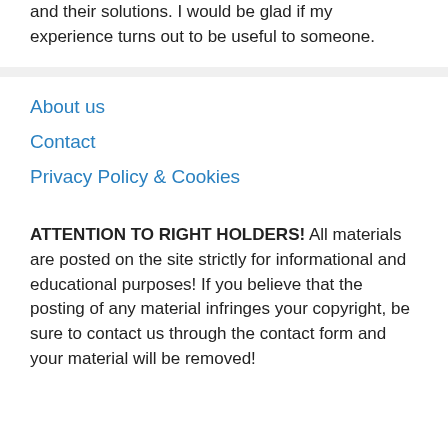and their solutions. I would be glad if my experience turns out to be useful to someone.
About us
Contact
Privacy Policy & Cookies
ATTENTION TO RIGHT HOLDERS! All materials are posted on the site strictly for informational and educational purposes! If you believe that the posting of any material infringes your copyright, be sure to contact us through the contact form and your material will be removed!